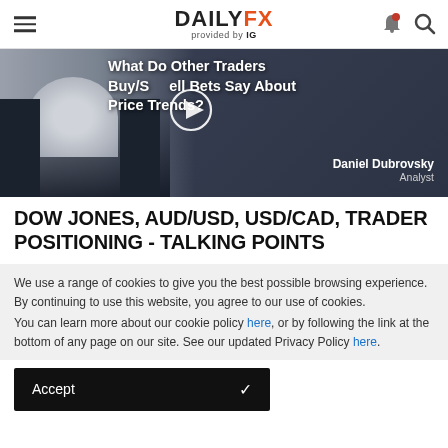DAILYFX provided by IG
[Figure (photo): Video thumbnail showing a man in a suit with overlay text 'What Do Other Traders Buy/Sell Bets Say About Price Trends?' and a play button. Author: Daniel Dubrovsky, Analyst.]
DOW JONES, AUD/USD, USD/CAD, TRADER POSITIONING - TALKING POINTS
We use a range of cookies to give you the best possible browsing experience. By continuing to use this website, you agree to our use of cookies.
You can learn more about our cookie policy here, or by following the link at the bottom of any page on our site. See our updated Privacy Policy here.
Accept